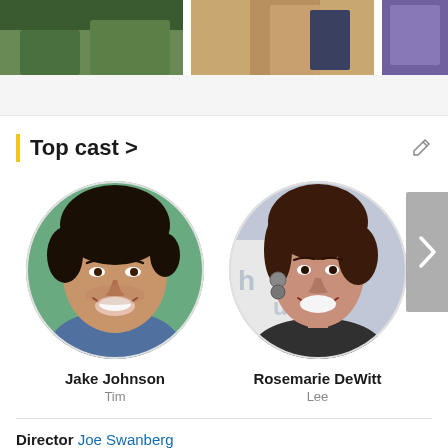[Figure (photo): Three partially visible movie/show stills at the top of the page]
Top cast >
[Figure (photo): Circular headshot of actor Jake Johnson smiling]
Jake Johnson
Tim
[Figure (photo): Circular headshot of actress Rosemarie DeWitt smiling]
Rosemarie DeWitt
Lee
Director  Joe Swanberg